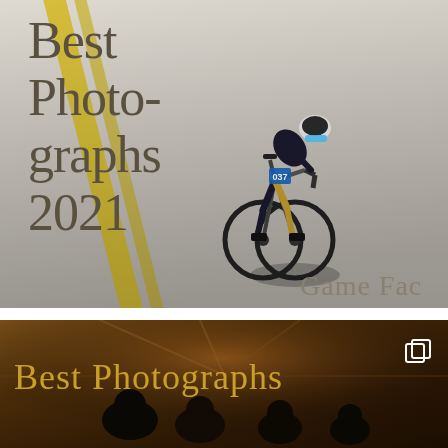[Figure (photo): Top image: A cyclist wearing number 037 races on a road with yellow lane markings. Large title text 'Best Photographs 2021' overlaid on left side. 'Game Fac' text visible at bottom right (partially cropped).]
[Figure (photo): Bottom image: Interior of a bus/vehicle with passengers silhouetted against warm golden/brown tones. 'Best Photographs' title text overlaid in gold, partially cropped at right. Small copy/duplicate icon in top right corner.]